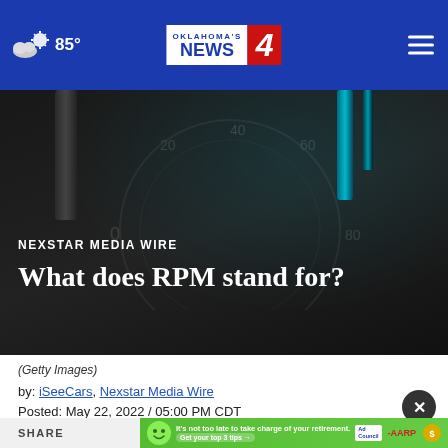Oklahoma's News 4 — 85°
[Figure (photo): Dark close-up photo of a tachometer or dial with cables/wires visible in the background, with cyan-colored wire on the right side]
NEXSTAR MEDIA WIRE
What does RPM stand for?
(Getty Images)
by: iSeeCars, Nexstar Media Wire
Posted: May 22, 2022 / 05:00 PM CDT
Updated: May 22, 2022 / 05:00 PM CDT
SHARE
[Figure (infographic): AARP advertisement banner: It's not too late to take charge of your retirement. Get your top 3 tips.]